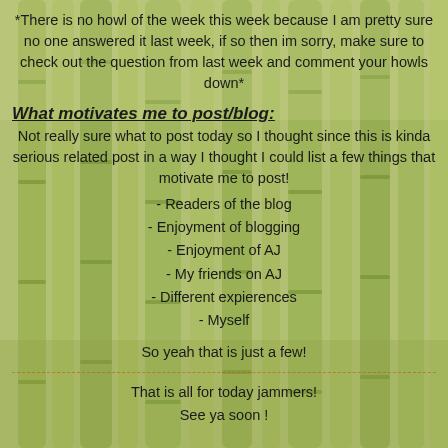*There is no howl of the week this week because I am pretty sure no one answered it last week, if so then im sorry, make sure to check out the question from last week and comment your howls down*
What motivates me to post/blog:
Not really sure what to post today so I thought since this is kinda serious related post in a way I thought I could list a few things that motivate me to post!
- Readers of the blog
- Enjoyment of blogging
- Enjoyment of AJ
- My friends on AJ
- Different expierences
- Myself
So yeah that is just a few!
That is all for today jammers!
See ya soon !